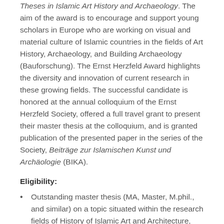Theses in Islamic Art History and Archaeology. The aim of the award is to encourage and support young scholars in Europe who are working on visual and material culture of Islamic countries in the fields of Art History, Archaeology, and Building Archaeology (Bauforschung). The Ernst Herzfeld Award highlights the diversity and innovation of current research in these growing fields. The successful candidate is honored at the annual colloquium of the Ernst Herzfeld Society, offered a full travel grant to present their master thesis at the colloquium, and is granted publication of the presented paper in the series of the Society, Beiträge zur Islamischen Kunst und Archäologie (BIKA).
Eligibility:
Outstanding master thesis (MA, Master, M.phil., and similar) on a topic situated within the research fields of History of Islamic Art and Architecture, Islamic Archaeology, or Building Archaeology (Bauforschung) on Islamic Architecture.